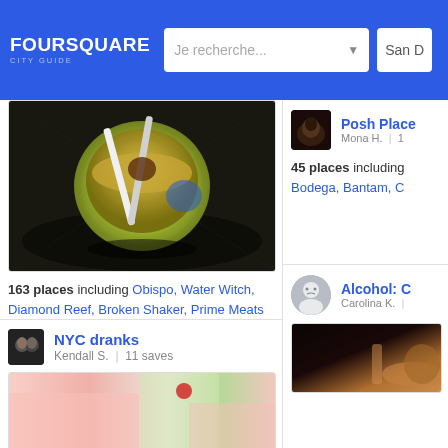FOURSQUARE CITY GUIDE — Je recherche... — San D
[Figure (photo): Food photo: a drink served in a hollowed-out lime/citrus fruit with straws, on a dark background]
163 places including Obispo, Water Witch, Diamond Reef, Broken Shaker, Prime Meats
[Figure (photo): Profile photo of Posh Place list owner Mona H.]
45 places including Bodega, Bantam, C...
NYC dranks — Kendall S. | 11 saves
Alcohol: C — Carolina K. |
[Figure (photo): Drink photo: pink cocktail with green garnish and red element, close-up]
[Figure (photo): Dark bar photo partially visible on right side]